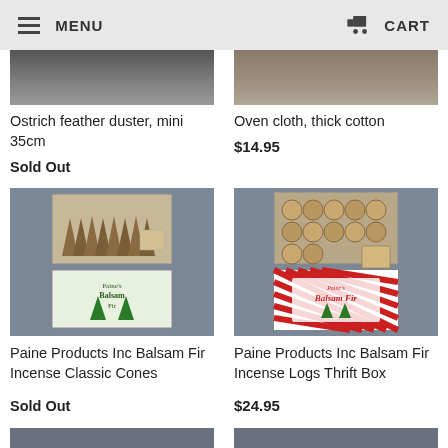MENU  CART
[Figure (photo): Ostrich feather duster product image, cropped top portion visible, gray/dark tones]
[Figure (photo): Oven cloth thick cotton product image, cropped top portion visible, gray/brown tones]
Ostrich feather duster, mini 35cm
Sold Out
Oven cloth, thick cotton
$14.95
[Figure (photo): Paine Products Inc Balsam Fir Incense Classic Cones — open box with incense cones and packaging with pine tree label, photographed on gray background]
[Figure (photo): Paine Products Inc Balsam Fir Incense Logs Thrift Box — open box with incense logs and red/white striped Balsam Fir packaging, photographed on gray background]
Paine Products Inc Balsam Fir Incense Classic Cones
Sold Out
Paine Products Inc Balsam Fir Incense Logs Thrift Box
$24.95
[Figure (photo): Partial product image at bottom, cut off]
[Figure (photo): Partial product image at bottom, cut off]